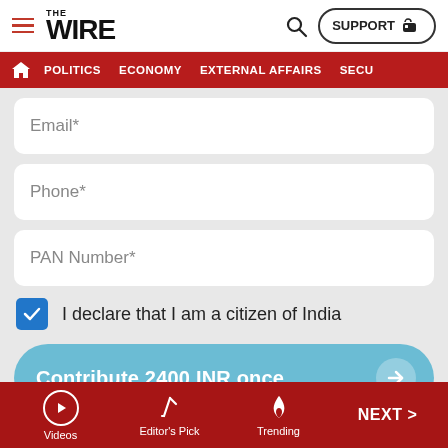THE WIRE — SUPPORT — POLITICS — ECONOMY — EXTERNAL AFFAIRS — SECU...
[Figure (screenshot): Email form field (empty, placeholder text 'Email*')]
[Figure (screenshot): Phone form field (empty, placeholder text 'Phone*')]
[Figure (screenshot): PAN Number form field (empty, placeholder text 'PAN Number*')]
I declare that I am a citizen of India
Contribute 2400 INR once
All contributions are eligible for
Videos | Editor's Pick | Trending | NEXT >